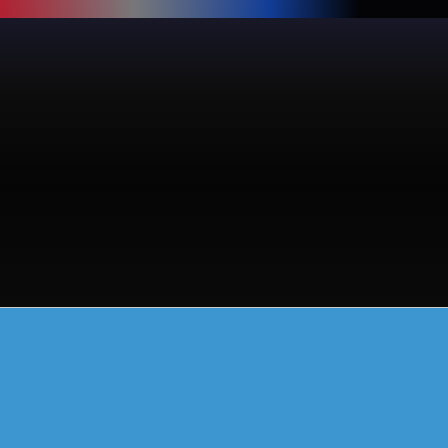[Figure (photo): Dark photograph with a colored top strip, mostly black background suggesting a sports or event scene partially visible at the top edge]
Διαχείριση τεχνικών έργων